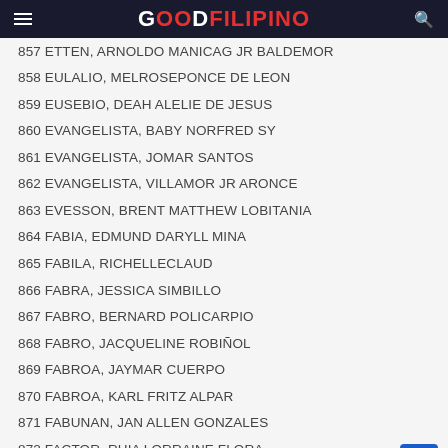GOOD FILIPINO
857 ETTEN, ARNOLDO MANICAG JR BALDEMOR
858 EULALIO, MELROSEPONCE DE LEON
859 EUSEBIO, DEAH ALELIE DE JESUS
860 EVANGELISTA, BABY NORFRED SY
861 EVANGELISTA, JOMAR SANTOS
862 EVANGELISTA, VILLAMOR JR ARONCE
863 EVESSON, BRENT MATTHEW LOBITANIA
864 FABIA, EDMUND DARYLL MINA
865 FABILA, RICHELLECLAUD
866 FABRA, JESSICA SIMBILLO
867 FABRO, BERNARD POLICARPIO
868 FABRO, JACQUELINE ROBIÑOL
869 FABROA, JAYMAR CUERPO
870 FABROA, KARL FRITZ ALPAR
871 FABUNAN, JAN ALLEN GONZALES
872 FACTOR, RHIA LORRAINE FLORA
873 FACUN, ROMAR LACAYANGA
874 FAJARDO, JAYSON PASCUA